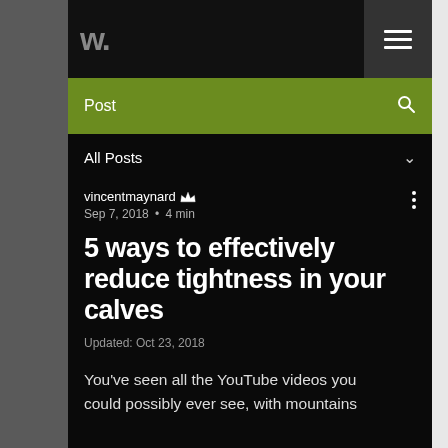w.
Post
All Posts
vincentmaynard  Sep 7, 2018 • 4 min
5 ways to effectively reduce tightness in your calves
Updated: Oct 23, 2018
You've seen all the YouTube videos you could possibly ever see, with mountains